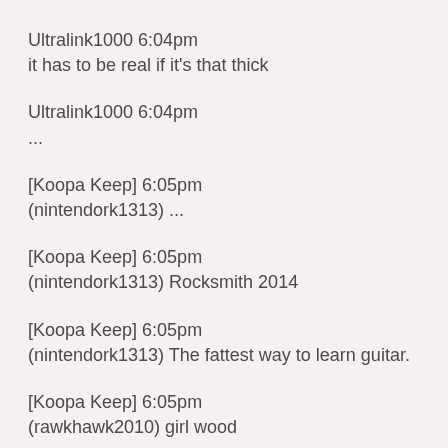Ultralink1000 6:04pm
it has to be real if it's that thick
Ultralink1000 6:04pm
...
[Koopa Keep] 6:05pm
(nintendork1313) ...
[Koopa Keep] 6:05pm
(nintendork1313) Rocksmith 2014
[Koopa Keep] 6:05pm
(nintendork1313) The fattest way to learn guitar.
[Koopa Keep] 6:05pm
(rawkhawk2010) girl wood
[Koopa Keep] 6:05pm
(nintendork1313) #girlwood